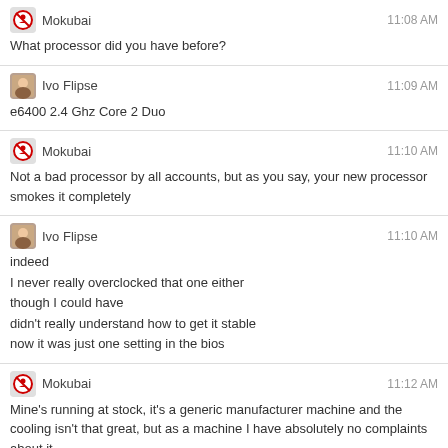Mokubai — 11:08 AM — What processor did you have before?
Ivo Flipse — 11:09 AM — e6400 2.4 Ghz Core 2 Duo
Mokubai — 11:10 AM — Not a bad processor by all accounts, but as you say, your new processor smokes it completely
Ivo Flipse — 11:10 AM — indeed / I never really overclocked that one either / though I could have / didn't really understand how to get it stable / now it was just one setting in the bios
Mokubai — 11:12 AM — Mine's running at stock, it's a generic manufacturer machine and the cooling isn't that great, but as a machine I have absolutely no complaints about it / But yeah, seems these days the mobo manufacturers have the overclocking down pat, single setting change and there you go / If I remember rightly AMD even have a tool to overclock in Windows...
Ivo Flipse — 11:13 AM — I think I have too, but it boots in 30 seconds / I can live with a reboot :P